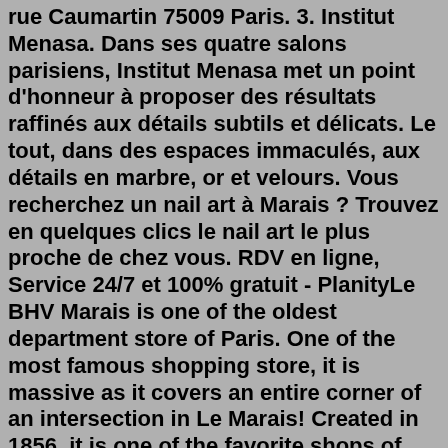rue Caumartin 75009 Paris. 3. Institut Menasa. Dans ses quatre salons parisiens, Institut Menasa met un point d'honneur à proposer des résultats raffinés aux détails subtils et délicats. Le tout, dans des espaces immaculés, aux détails en marbre, or et velours. Vous recherchez un nail art à Marais ? Trouvez en quelques clics le nail art le plus proche de chez vous. RDV en ligne, Service 24/7 et 100% gratuit - PlanityLe BHV Marais is one of the oldest department store of Paris. One of the most famous shopping store, it is massive as it covers an entire corner of an intersection in Le Marais! Created in 1856, it is one of the favorite shops of local Parisians. It is divided into three parts: one for our pets, one for men and one for women.AUPARIS NAIL ART CO.,LTD. mainly products including: UV Lamp, Hand-Assembly Nail Art Decoration, Nail Form, Nail Art Brush,Nail Polish, Nail File, Nail-Clippers, Nail ... Treat yourself to a manicure and pedicure at the Nail Bar at Les Bains du Marais Online reservation Les Bains du Marais is a unique wellness center featuring